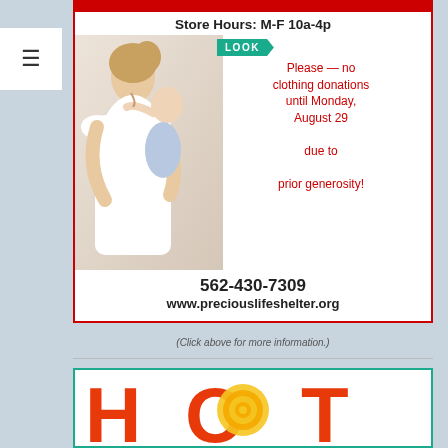[Figure (infographic): Precious Life Shelter advertisement showing a mother and baby. Red bar at top, store hours text, LOOK badge, red text about no clothing donations until Monday August 29 due to prior generosity, phone 562-430-7309 and website www.preciouslifeshelter.org]
(Click above for more information.)
[Figure (logo): HOT text logo in orange/red letters with yellow circular sun design, partial view at bottom of page]